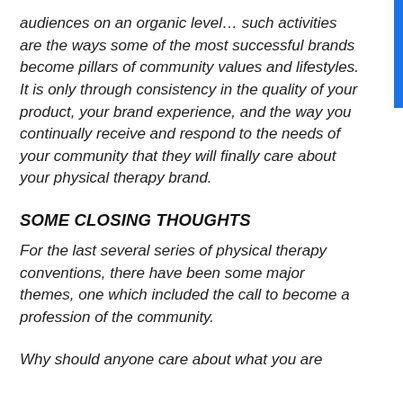audiences on an organic level… such activities are the ways some of the most successful brands become pillars of community values and lifestyles. It is only through consistency in the quality of your product, your brand experience, and the way you continually receive and respond to the needs of your community that they will finally care about your physical therapy brand.
SOME CLOSING THOUGHTS
For the last several series of physical therapy conventions, there have been some major themes, one which included the call to become a profession of the community.
Why should anyone care about what you are